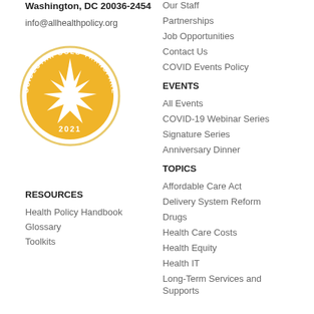Washington, DC 20036-2454
info@allhealthpolicy.org
[Figure (logo): GuideStar Gold Transparency 2021 seal badge — circular gold and white badge with a starburst in the center and text reading GUIDESTAR GOLD TRANSPARENCY around the rim, with 2021 at the bottom]
RESOURCES
Health Policy Handbook
Glossary
Toolkits
Our Staff
Partnerships
Job Opportunities
Contact Us
COVID Events Policy
EVENTS
All Events
COVID-19 Webinar Series
Signature Series
Anniversary Dinner
TOPICS
Affordable Care Act
Delivery System Reform
Drugs
Health Care Costs
Health Equity
Health IT
Long-Term Services and Supports